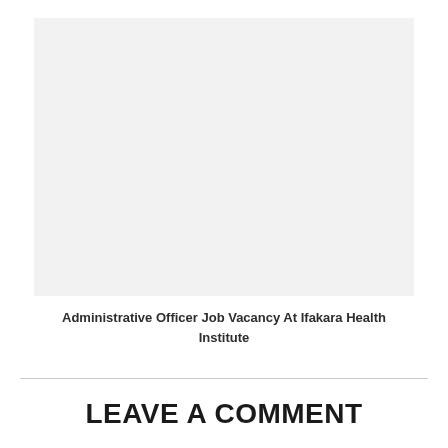[Figure (other): Light gray placeholder image box, blank content area]
Administrative Officer Job Vacancy At Ifakara Health Institute
LEAVE A COMMENT